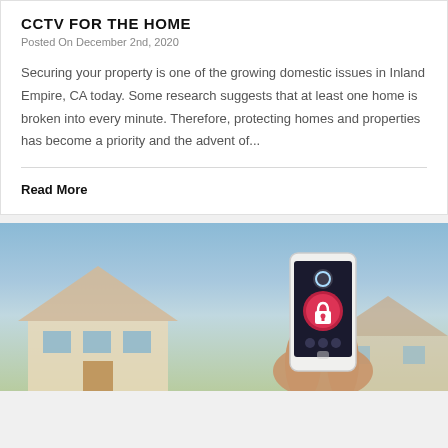CCTV FOR THE HOME
Posted On December 2nd, 2020
Securing your property is one of the growing domestic issues in Inland Empire, CA today. Some research suggests that at least one home is broken into every minute. Therefore, protecting homes and properties has become a priority and the advent of...
Read More
[Figure (photo): Hands holding a white smartphone with a home security app showing a lock icon, with a blurred house and blue sky in the background.]